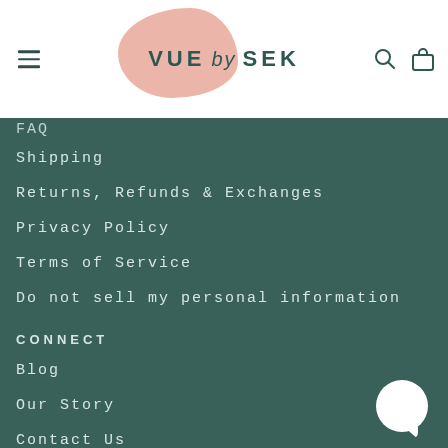[Figure (logo): VUE by SEK brand logo with peach/salmon blob shape behind text, hamburger menu icon on left, search and bag icons on right]
FAQ
Shipping
Returns, Refunds & Exchanges
Privacy Policy
Terms of Service
Do not sell my personal information
CONNECT
Blog
Our Story
Contact Us